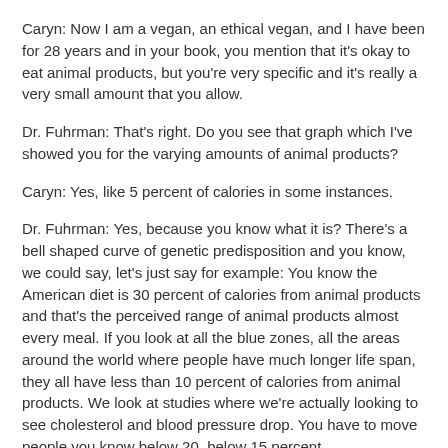Caryn: Now I am a vegan, an ethical vegan, and I have been for 28 years and in your book, you mention that it's okay to eat animal products, but you're very specific and it's really a very small amount that you allow.
Dr. Fuhrman: That's right. Do you see that graph which I've showed you for the varying amounts of animal products?
Caryn: Yes, like 5 percent of calories in some instances.
Dr. Fuhrman: Yes, because you know what it is? There's a bell shaped curve of genetic predisposition and you know, we could say, let's just say for example: You know the American diet is 30 percent of calories from animal products and that's the perceived range of animal products almost every meal. If you look at all the blue zones, all the areas around the world where people have much longer life span, they all have less than 10 percent of calories from animal products. We look at studies where we're actually looking to see cholesterol and blood pressure drop. You have to move people you know below 20, below 15 percent,